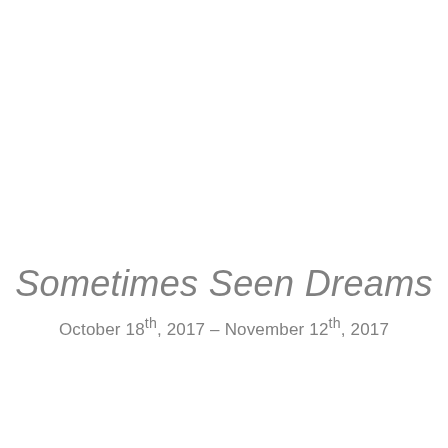Sometimes Seen Dreams
October 18th, 2017 – November 12th, 2017